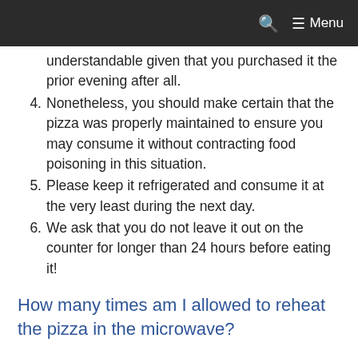Menu
understandable given that you purchased it the prior evening after all.
4. Nonetheless, you should make certain that the pizza was properly maintained to ensure you may consume it without contracting food poisoning in this situation.
5. Please keep it refrigerated and consume it at the very least during the next day.
6. We ask that you do not leave it out on the counter for longer than 24 hours before eating it!
How many times am I allowed to reheat the pizza in the microwave?